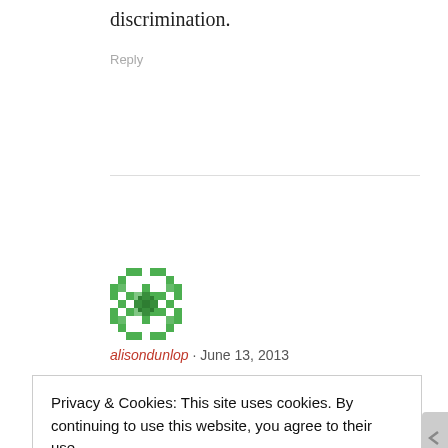discrimination.
Reply
[Figure (illustration): Green pixel/mosaic avatar icon for user alisondunlop]
alisondunlop · June 13, 2013
Privacy & Cookies: This site uses cookies. By continuing to use this website, you agree to their use.
To find out more, including how to control cookies, see here: Cookie Policy
Close and accept